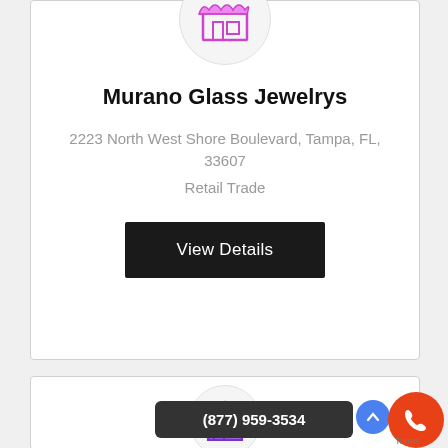[Figure (illustration): Pink/purple store icon inside a light gray circle at top of card]
Murano Glass Jewelrys
2223 North West Shore Boulevard, Tampa, FL, 33607
Retail Trade
View Details
[Figure (illustration): Purple house/store icon inside a light gray circle at top of second card]